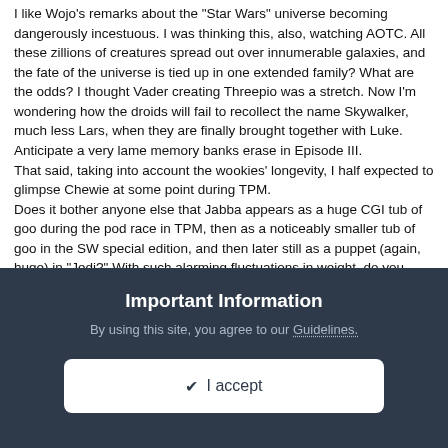I like Wojo's remarks about the "Star Wars" universe becoming dangerously incestuous. I was thinking this, also, watching AOTC. All these zillions of creatures spread out over innumerable galaxies, and the fate of the universe is tied up in one extended family? What are the odds? I thought Vader creating Threepio was a stretch. Now I'm wondering how the droids will fail to recollect the name Skywalker, much less Lars, when they are finally brought together with Luke. Anticipate a very lame memory banks erase in Episode III.
That said, taking into account the wookies' longevity, I half expected to glimpse Chewie at some point during TPM.
Does it bother anyone else that Jabba appears as a huge CGI tub of goo during the pod race in TPM, then as a noticeably smaller tub of goo in the SW special edition, and then later still as a puppet (again, huge) in "Jedi?" With such alarming fluctuations in weight, do you suppose Jabba is struggling with bulimia?
Important Information
By using this site, you agree to our Guidelines.
✔ I accept